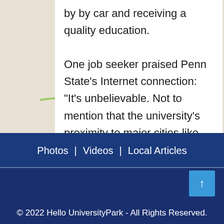by by car and receiving a quality education. One job seeker praised Penn State's Internet connection: "It's unbelievable. Not to mention that the university's proximity to major cities like Philadelphia and Pittsburgh makes it easy to find a job after graduation.
[Figure (map): Background map showing the University Park area with roads and green routes visible. Map labels include 'rk Fore Village' on the left and 'ont' on the right.]
Photos | Videos | Local Articles
© 2022 Hello UniversityPark - All Rights Reserved.